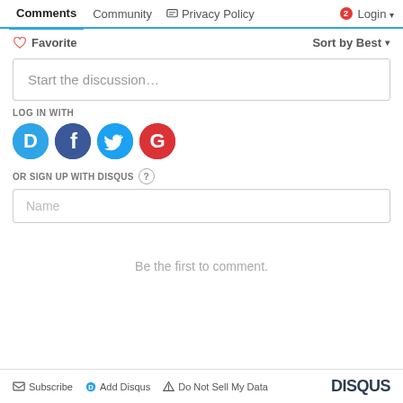Comments  Community  Privacy Policy  Login
♡ Favorite    Sort by Best ▾
Start the discussion…
LOG IN WITH
[Figure (illustration): Four social login icons: Disqus (blue circle with D), Facebook (dark blue circle with f), Twitter (light blue circle with bird), Google (red circle with G)]
OR SIGN UP WITH DISQUS ?
Name
Be the first to comment.
✉ Subscribe   D Add Disqus   ⚠ Do Not Sell My Data   DISQUS